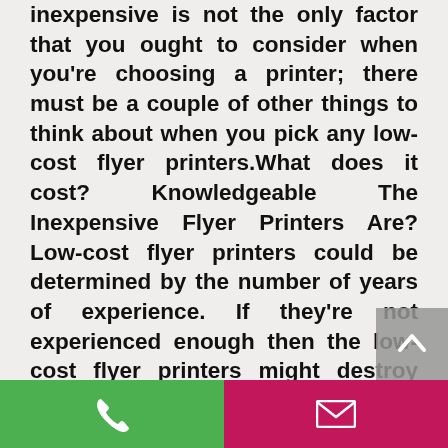inexpensive is not the only factor that you ought to consider when you're choosing a printer; there must be a couple of other things to think about when you pick any low-cost flyer printers.What does it cost? Knowledgeable The Inexpensive Flyer Printers Are? Low-cost flyer printers could be determined by the number of years of experience. If they're not experienced enough then the low-cost flyer printers might destroy your much-needed exposure. You must understand before you begin doing business with any inexpensive flyer printers if they can provide to you quality items or
[Figure (other): Bottom navigation bar with green phone button on left and magenta/pink email button on right, plus a grey scroll-to-top arrow button above right side]